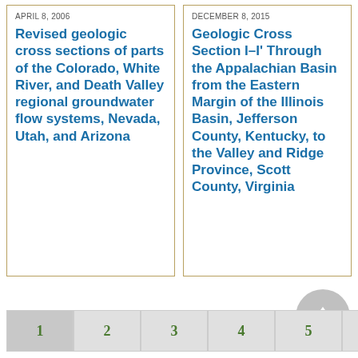APRIL 8, 2006
Revised geologic cross sections of parts of the Colorado, White River, and Death Valley regional groundwater flow systems, Nevada, Utah, and Arizona
DECEMBER 8, 2015
Geologic Cross Section I–I' Through the Appalachian Basin from the Eastern Margin of the Illinois Basin, Jefferson County, Kentucky, to the Valley and Ridge Province, Scott County, Virginia
1 2 3 4 5 6 7 8 9